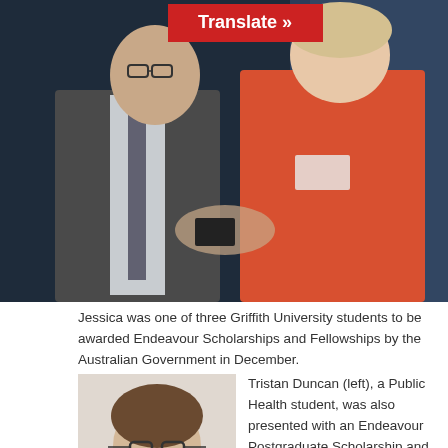[Figure (photo): Two people shaking hands at an award ceremony. A man in a dark suit on the left and a woman in a red/orange dress on the right, with a dark background.]
Jessica was one of three Griffith University students to be awarded Endeavour Scholarships and Fellowships by the Australian Government in December.
[Figure (photo): Headshot of Tristan Duncan, a young man with glasses and short dark hair, wearing a suit.]
Tristan Duncan (left), a Public Health student, was also presented with an Endeavour Postgraduate Scholarship and will continue his research at Eberhard